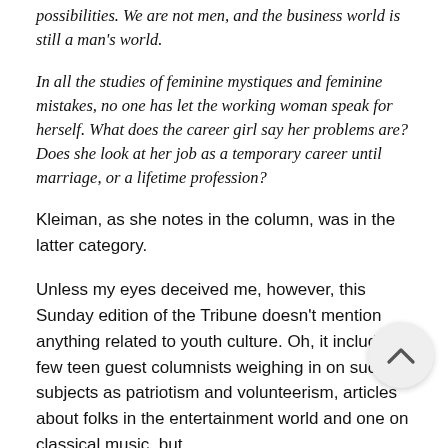possibilities. We are not men, and the business world is still a man's world.
In all the studies of feminine mystiques and feminine mistakes, no one has let the working woman speak for herself. What does the career girl say her problems are? Does she look at her job as a temporary career until marriage, or a lifetime profession?
Kleiman, as she notes in the column, was in the latter category.
Unless my eyes deceived me, however, this Sunday edition of the Tribune doesn't mention anything related to youth culture. Oh, it includes a few teen guest columnists weighing in on such subjects as patriotism and volunteerism, articles about folks in the entertainment world and one on classical music, but